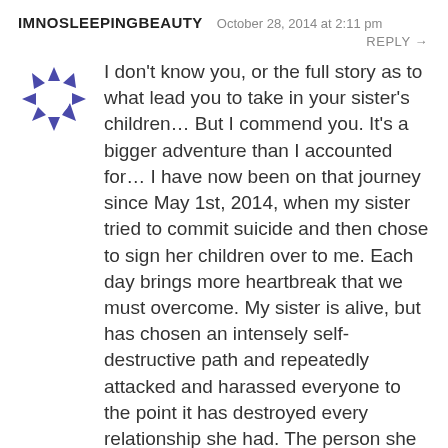IMNOSLEEPINGBEAUTY   October 28, 2014 at 2:11 pm
REPLY →
[Figure (illustration): Circular avatar icon made of blue triangular arrow shapes arranged in a ring]
I don't know you, or the full story as to what lead you to take in your sister's children… But I commend you. It's a bigger adventure than I accounted for… I have now been on that journey since May 1st, 2014, when my sister tried to commit suicide and then chose to sign her children over to me. Each day brings more heartbreak that we must overcome. My sister is alive, but has chosen an intensely self-destructive path and repeatedly attacked and harassed everyone to the point it has destroyed every relationship she had. The person she is now is NOT my sister. It's hard to save a person you love when they are simultaneously trying to